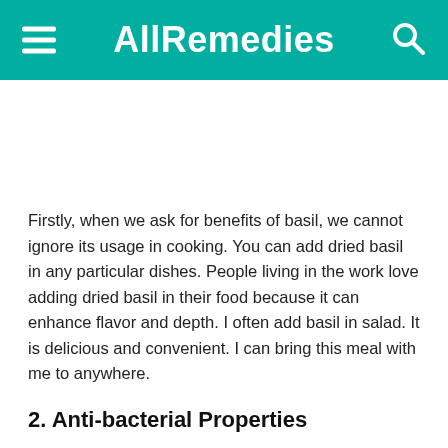AllRemedies
[Figure (other): Advertisement or image placeholder (blank white space)]
Firstly, when we ask for benefits of basil, we cannot ignore its usage in cooking. You can add dried basil in any particular dishes. People living in the work love adding dried basil in their food because it can enhance flavor and depth. I often add basil in salad. It is delicious and convenient. I can bring this meal with me to anywhere.
2. Anti-bacterial Properties
Basil leaves are shown that it contains anti-bacterial properties. Eating basil regularly in your diet will boost your immune system